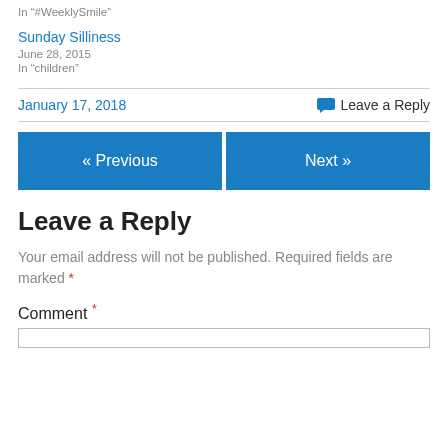In "#WeeklySmile"
Sunday Silliness
June 28, 2015
In "children"
January 17, 2018
Leave a Reply
« Previous
Next »
Leave a Reply
Your email address will not be published. Required fields are marked *
Comment *